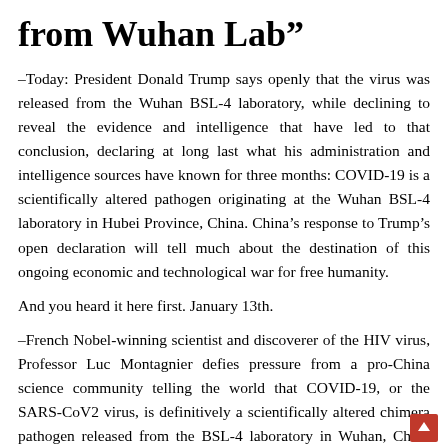from Wuhan Lab”
–Today: President Donald Trump says openly that the virus was released from the Wuhan BSL-4 laboratory, while declining to reveal the evidence and intelligence that have led to that conclusion, declaring at long last what his administration and intelligence sources have known for three months: COVID-19 is a scientifically altered pathogen originating at the Wuhan BSL-4 laboratory in Hubei Province, China. China’s response to Trump’s open declaration will tell much about the destination of this ongoing economic and technological war for free humanity.
And you heard it here first. January 13th.
–French Nobel-winning scientist and discoverer of the HIV virus, Professor Luc Montagnier defies pressure from a pro-China science community telling the world that COVID-19, or the SARS-CoV2 virus, is definitively a scientifically altered chimera pathogen released from the BSL-4 laboratory in Wuhan, China and that the insertion of HIV genetics into a “gain of function” SARS coronavirus could only be accomplished in a laboratory and is “not possible” via